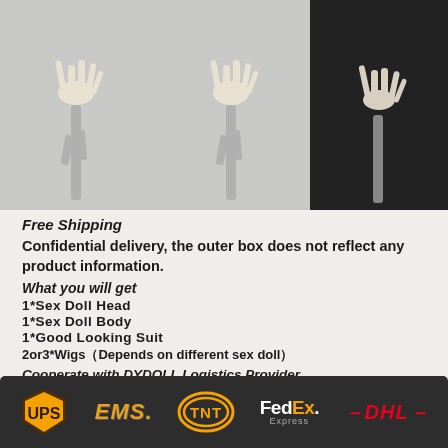[Figure (photo): Product photos showing skeleton/mannequin hand structures on stands against light and dark backgrounds]
Free Shipping
Confidential delivery, the outer box does not reflect any product information.
What you will get
1*Sex Doll Head
1*Sex Doll Body
1*Good Looking Suit
2or3*Wigs（Depends on different sex doll）
Cooperate with DYDOLL Logistics Provider
[Figure (logo): Logistics provider logos: UPS, EMS, TNT, FedEx Express, DHL]